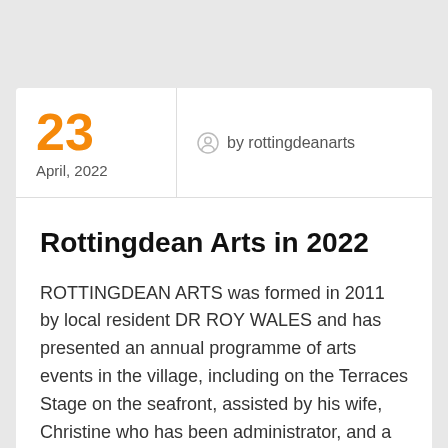23
April, 2022
by rottingdeanarts
Rottingdean Arts in 2022
ROTTINGDEAN ARTS was formed in 2011 by local resident DR ROY WALES and has presented an annual programme of arts events in the village, including on the Terraces Stage on the seafront, assisted by his wife, Christine who has been administrator, and a committee of